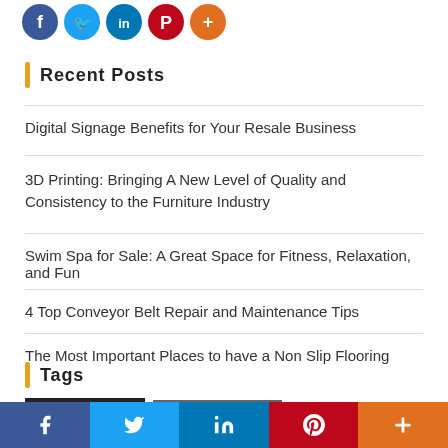[Figure (other): Social media share icons (Facebook, Twitter, LinkedIn, Pinterest, More) as colored circles at top of page]
Recent Posts
Digital Signage Benefits for Your Resale Business
3D Printing: Bringing A New Level of Quality and Consistency to the Furniture Industry
Swim Spa for Sale: A Great Space for Fitness, Relaxation, and Fun
4 Top Conveyor Belt Repair and Maintenance Tips
The Most Important Places to have a Non Slip Flooring
Tags
3D printing   acidic pool water
[Figure (other): Bottom social sharing bar with Facebook, Twitter, LinkedIn, Pinterest, and More buttons]